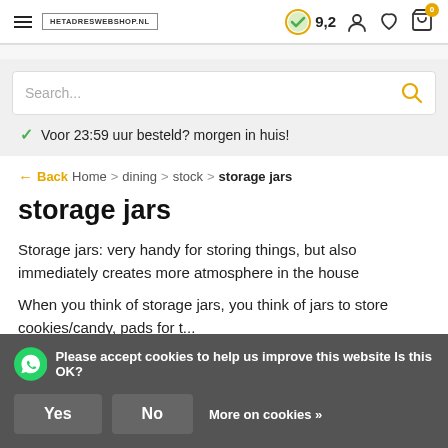HETADRESWEBSHOP.NL  9,2
Search...
Voor 23:59 uur besteld? morgen in huis!
← Back  Home > dining > stock > storage jars
storage jars
Storage jars: very handy for storing things, but also immediately creates more atmosphere in the house
When you think of storage jars, you think of jars to store cookies/candy, pads for t...
Please accept cookies to help us improve this website Is this OK?
Yes   No   More on cookies »